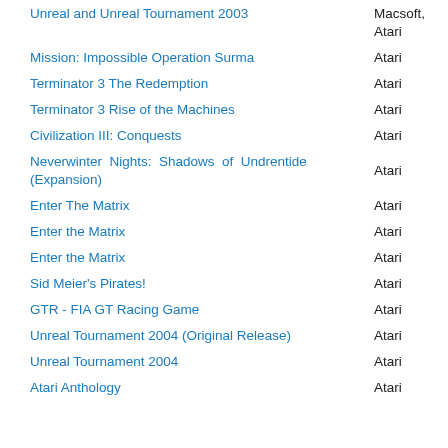| Game | Publisher |
| --- | --- |
| Unreal and Unreal Tournament 2003 | Macsoft, Atari |
| Mission: Impossible Operation Surma | Atari |
| Terminator 3 The Redemption | Atari |
| Terminator 3 Rise of the Machines | Atari |
| Civilization III: Conquests | Atari |
| Neverwinter Nights: Shadows of Undrentide (Expansion) | Atari |
| Enter The Matrix | Atari |
| Enter the Matrix | Atari |
| Enter the Matrix | Atari |
| Sid Meier's Pirates! | Atari |
| GTR - FIA GT Racing Game | Atari |
| Unreal Tournament 2004 (Original Release) | Atari |
| Unreal Tournament 2004 | Atari |
| Atari Anthology | Atari |